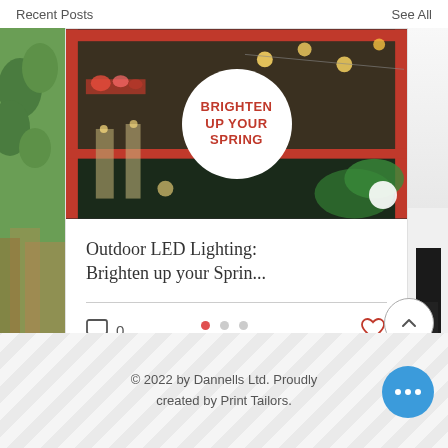Recent Posts    See All
[Figure (photo): Blog post card showing outdoor LED lighting scene with string lights and fairy lights in bottles, with a white circle overlay reading BRIGHTEN UP YOUR SPRING in red bold text. Partial green plant image on left, partial dark lamp image on right.]
Outdoor LED Lighting: Brighten up your Sprin...
0
© 2022 by Dannells Ltd. Proudly created by Print Tailors.